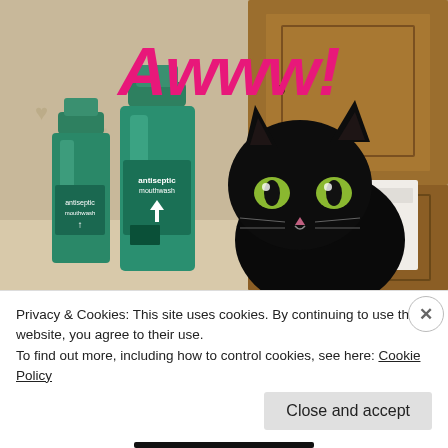[Figure (photo): A black cat sitting in a bathroom next to two green mouthwash bottles and a wooden cabinet, with the text 'Awww!' overlaid in large hot-pink italic font, and small heart shapes visible on the wall background.]
Privacy & Cookies: This site uses cookies. By continuing to use this website, you agree to their use.
To find out more, including how to control cookies, see here: Cookie Policy